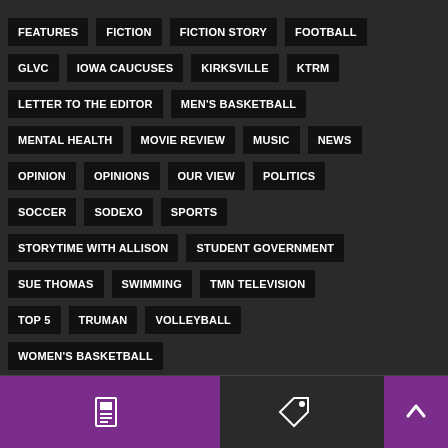FEATURES
FICTION
FICTION STORY
FOOTBALL
GLVC
IOWA CAUCUSES
KIRKSVILLE
KTRM
LETTER TO THE EDITOR
MEN'S BASKETBALL
MENTAL HEALTH
MOVIE REVIEW
MUSIC
NEWS
OPINION
OPINIONS
OUR VIEW
POLITICS
SOCCER
SODEXO
SPORTS
STORYTIME WITH ALLISON
STUDENT GOVERNMENT
SUE THOMAS
SWIMMING
TMN TELEVISION
TOP 5
TRUMAN
VOLLEYBALL
WOMEN'S BASKETBALL